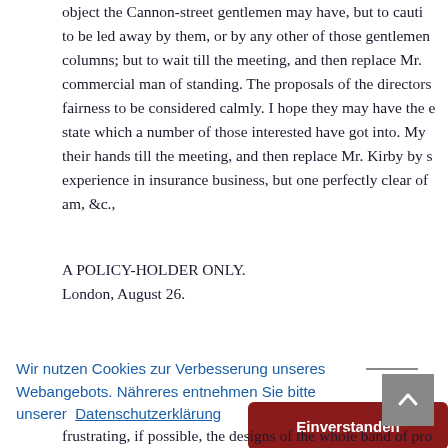object the Cannon-street gentlemen may have, but to cauti to be led away by them, or by any other of those gentlemen columns; but to wait till the meeting, and then replace Mr. commercial man of standing. The proposals of the directors fairness to be considered calmly. I hope they may have the e state which a number of those interested have got into. My their hands till the meeting, and then replace Mr. Kirby by s experience in insurance business, but one perfectly clear of am, &c.,
A POLICY-HOLDER ONLY.
London, August 26.
Wir nutzen Cookies zur Verbesserung unseres Webangebots. Nähreres entnehmen Sie bitte unserer Datenschutzerklärung
Einverstanden
frustrating, if possible, the designs of the whole band of pro